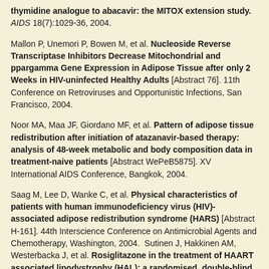thymidine analogue to abacavir: the MITOX extension study. AIDS 18(7):1029-36, 2004.
Mallon P, Unemori P, Bowen M, et al. Nucleoside Reverse Transcriptase Inhibitors Decrease Mitochondrial and ppargamma Gene Expression in Adipose Tissue after only 2 Weeks in HIV-uninfected Healthy Adults [Abstract 76]. 11th Conference on Retroviruses and Opportunistic Infections, San Francisco, 2004.
Noor MA, Maa JF, Giordano MF, et al. Pattern of adipose tissue redistribution after initiation of atazanavir-based therapy: analysis of 48-week metabolic and body composition data in treatment-naive patients [Abstract WePeB5875]. XV International AIDS Conference, Bangkok, 2004.
Saag M, Lee D, Wanke C, et al. Physical characteristics of patients with human immunodeficiency virus (HIV)-associated adipose redistribution syndrome (HARS) [Abstract H-161]. 44th Interscience Conference on Antimicrobial Agents and Chemotherapy, Washington, 2004.  Sutinen J, Hakkinen AM, Westerbacka J, et al. Rosiglitazone in the treatment of HAART associated lipodystrophy (HAL): a randomised, double-blind, placebo-controlled study [abstract LB13]. 9th Conference on Retroviruses and Opportunistic Infections, Seattle, 2002.